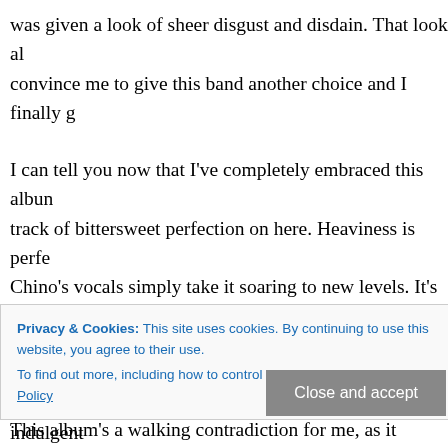was given a look of sheer disgust and disdain. That look al convince me to give this band another choice and I finally g
I can tell you now that I've completely embraced this album track of bittersweet perfection on here. Heaviness is perfe Chino's vocals simply take it soaring to new levels. It's a to same time has a whole load of balls and comes across as i great riffs on here, but there's nothing overly self-indulgent bands are sometimes guilty of. Here is a bunch of guys just
Privacy & Cookies: This site uses cookies. By continuing to use this website, you agree to their use.
To find out more, including how to control cookies, see here: Cookie Policy
Close and accept
This album's a walking contradiction for me, as it sounds